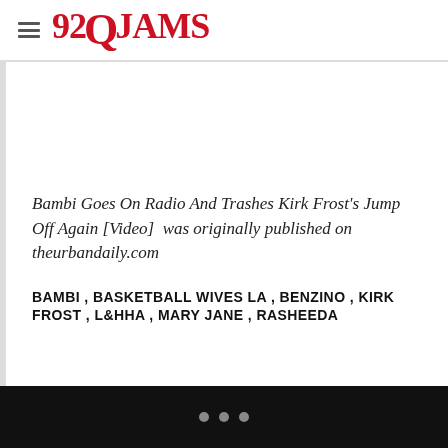92Q JAMS
Bambi Goes On Radio And Trashes Kirk Frost's Jump Off Again [Video]  was originally published on theurbandaily.com
BAMBI , BASKETBALL WIVES LA , BENZINO , KIRK FROST , L&HHA , MARY JANE , RASHEEDA
...